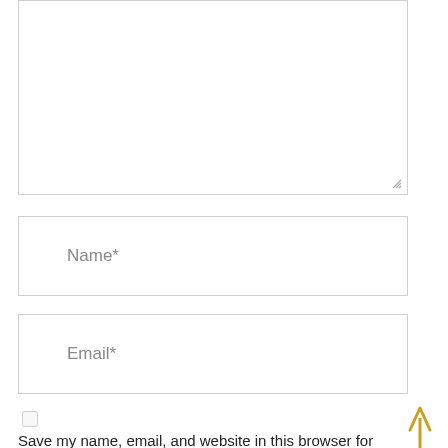[Figure (screenshot): Empty textarea form field with a resize handle in the bottom-right corner, bordered in light gray]
Name*
Email*
Save my name, email, and website in this browser for the next time I comment.
[Figure (illustration): A golden/yellow upward-pointing arrow on the right side of the page]